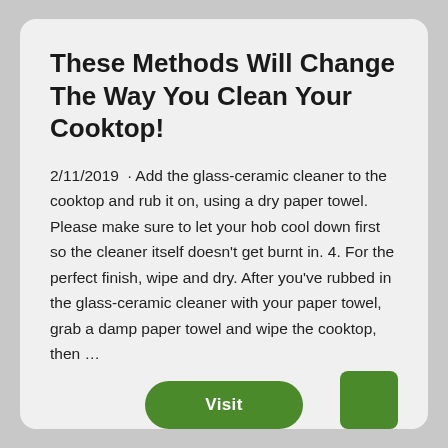These Methods Will Change The Way You Clean Your Cooktop!
2/11/2019 · Add the glass-ceramic cleaner to the cooktop and rub it on, using a dry paper towel. Please make sure to let your hob cool down first so the cleaner itself doesn't get burnt in. 4. For the perfect finish, wipe and dry. After you've rubbed in the glass-ceramic cleaner with your paper towel, grab a damp paper towel and wipe the cooktop, then …
[Figure (other): Green 'Visit' button and a green square icon at the bottom of the card]